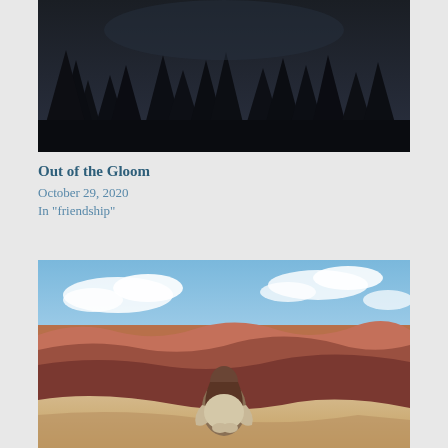[Figure (photo): Dark nighttime forest scene with tall evergreen tree silhouettes against a very dark sky]
Out of the Gloom
October 29, 2020
In "friendship"
[Figure (photo): Person with long brown hair sitting in meditation pose on a rock ledge overlooking the Grand Canyon, viewed from behind, with blue sky and clouds above]